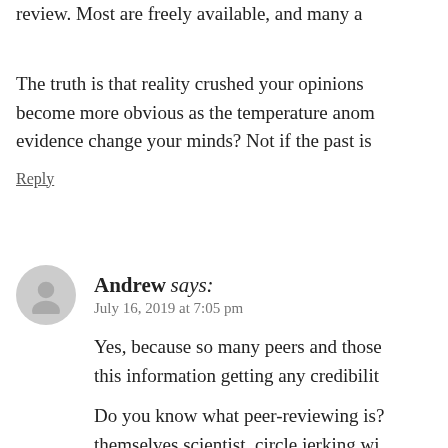review. Most are freely available, and many a
The truth is that reality crushed your opinions become more obvious as the temperature anon evidence change your minds? Not if the past is
Reply
Andrew says: July 16, 2019 at 7:05 pm
Yes, because so many peers and those this information getting any credibilit
Do you know what peer-reviewing is? themselves scientist, circle jerking wi Peer-reviewed doesn't mean squat. It' triple-blind study is with large data se
Also, the information presented here c